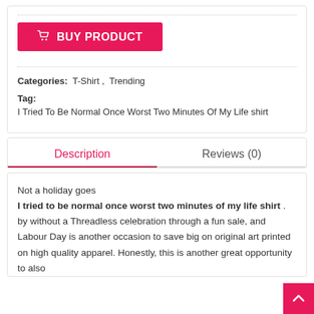[Figure (other): BUY PRODUCT button with shopping cart icon, pink/red background, white text]
Categories: T-Shirt , Trending
Tag:
I Tried To Be Normal Once Worst Two Minutes Of My Life shirt
Description
Reviews (0)
Not a holiday goes I tried to be normal once worst two minutes of my life shirt . by without a Threadless celebration through a fun sale, and Labour Day is another occasion to save big on original art printed on high quality apparel. Honestly, this is another great opportunity to also